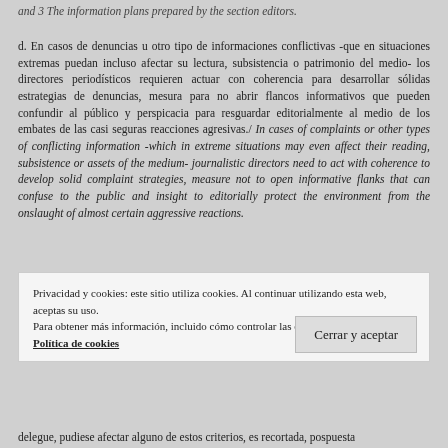and 3 The information plans prepared by the section editors.
d. En casos de denuncias u otro tipo de informaciones conflictivas -que en situaciones extremas puedan incluso afectar su lectura, subsistencia o patrimonio del medio- los directores periodísticos requieren actuar con coherencia para desarrollar sólidas estrategias de denuncias, mesura para no abrir flancos informativos que pueden confundir al público y perspicacia para resguardar editorialmente al medio de los embates de las casi seguras reacciones agresivas./ In cases of complaints or other types of conflicting information -which in extreme situations may even affect their reading, subsistence or assets of the medium- journalistic directors need to act with coherence to develop solid complaint strategies, measure not to open informative flanks that can confuse to the public and insight to editorially protect the environment from the onslaught of almost certain aggressive reactions.
Privacidad y cookies: este sitio utiliza cookies. Al continuar utilizando esta web, aceptas su uso.
Para obtener más información, incluido cómo controlar las cookies, consulta aquí:
Política de cookies
Cerrar y aceptar
delegue, pudiese afectar alguno de estos criterios, es recortada, pospuesta